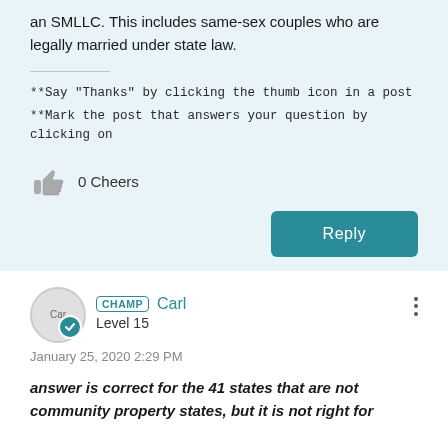an SMLLC. This includes same-sex couples who are legally married under state law.
**Say "Thanks" by clicking the thumb icon in a post
**Mark the post that answers your question by clicking on
0 Cheers
Reply
CHAMP  Carl
Level 15
January 25, 2020 2:29 PM
answer is correct for the 41 states that are not community property states, but it is not right for